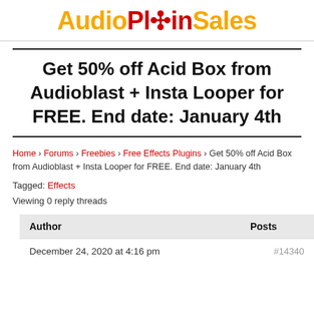Audio Plugin Sales
Get 50% off Acid Box from Audioblast + Insta Looper for FREE. End date: January 4th
Home › Forums › Freebies › Free Effects Plugins › Get 50% off Acid Box from Audioblast + Insta Looper for FREE. End date: January 4th
Tagged: Effects
Viewing 0 reply threads
| Author | Posts |
| --- | --- |
| December 24, 2020 at 4:16 pm | #14340 |